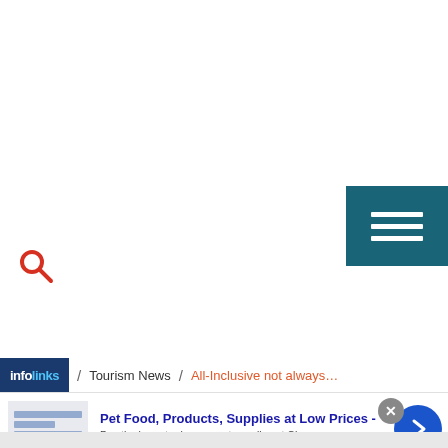[Figure (screenshot): Navigation menu hamburger button (three horizontal white lines on dark teal background), positioned top right]
[Figure (screenshot): Red search (magnifying glass) icon, positioned left side]
infolinks / Tourism News / All-Inclusive not always…
[Figure (screenshot): Advertisement banner: Pet Food, Products, Supplies at Low Prices - Pay the lowest prices on pet supplies at Chewy.com, chewy.com]